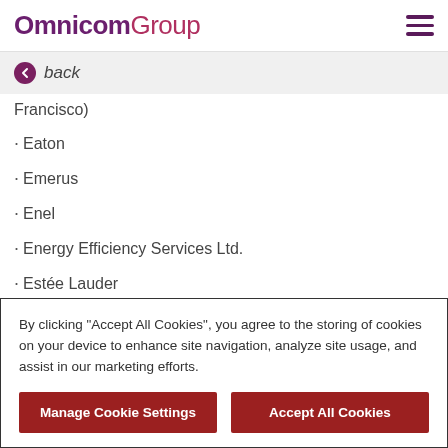OmnicomGroup
back
Francisco)
Eaton
Emerus
Enel
Energy Efficiency Services Ltd.
Estée Lauder
EURPAC Strategic Partners
E... (partially visible)
By clicking “Accept All Cookies”, you agree to the storing of cookies on your device to enhance site navigation, analyze site usage, and assist in our marketing efforts.